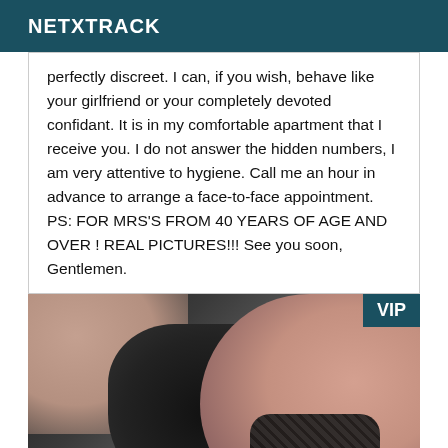NETXTRACK
perfectly discreet. I can, if you wish, behave like your girlfriend or your completely devoted confidant. It is in my comfortable apartment that I receive you. I do not answer the hidden numbers, I am very attentive to hygiene. Call me an hour in advance to arrange a face-to-face appointment. PS: FOR MRS'S FROM 40 YEARS OF AGE AND OVER ! REAL PICTURES!!! See you soon, Gentlemen.
[Figure (photo): Photo of a person wearing black lingerie/lace garment, partial body view, with a VIP badge in the top right corner]